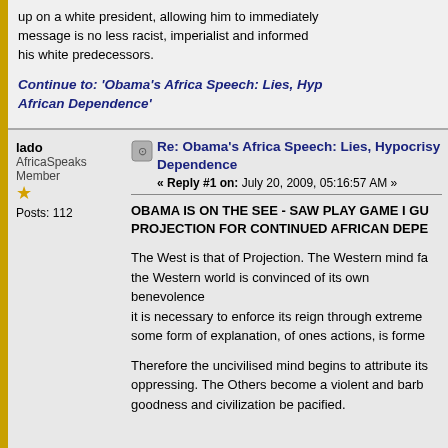up on a white president, allowing him to immediately message is no less racist, imperialist and informed his white predecessors.
Continue to: 'Obama's Africa Speech: Lies, Hyp African Dependence'
lado
AfricaSpeaks Member
Posts: 112
Re: Obama's Africa Speech: Lies, Hypocrisy Dependence
« Reply #1 on: July 20, 2009, 05:16:57 AM »
OBAMA IS ON THE SEE - SAW PLAY GAME I GU PROJECTION FOR CONTINUED AFRICAN DEPE
The West is that of Projection. The Western mind fa the Western world is convinced of its own benevolence it is necessary to enforce its reign through extreme some form of explanation, of ones actions, is forme
Therefore the uncivilised mind begins to attribute its oppressing. The Others become a violent and barb goodness and civilization be pacified.